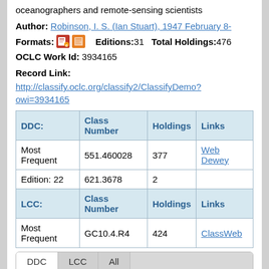oceanographers and remote-sensing scientists
Author: Robinson, I. S. (Ian Stuart), 1947 February 8-
Formats: [ebook icon] [book icon]   Editions: 31   Total Holdings: 476
OCLC Work Id: 3934165
Record Link:
http://classify.oclc.org/classify2/ClassifyDemo?owi=3934165
| DDC: | Class Number | Holdings | Links |
| --- | --- | --- | --- |
| Most Frequent | 551.460028 | 377 | Web Dewey |
| Edition: 22 | 621.3678 | 2 |  |
| LCC: | Class Number | Holdings | Links |
| Most Frequent | GC10.4.R4 | 424 | ClassWeb |
DDC   LCC   All
DDC